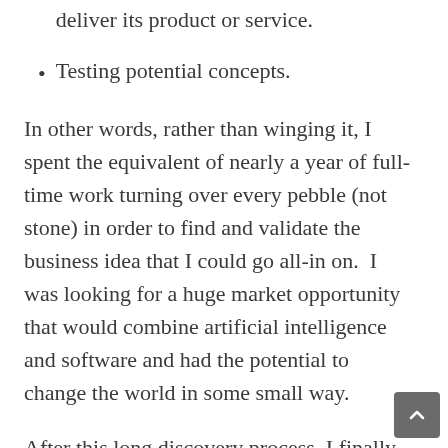deliver its product or service.
Testing potential concepts.
In other words, rather than winging it, I spent the equivalent of nearly a year of full-time work turning over every pebble (not stone) in order to find and validate the business idea that I could go all-in on.  I was looking for a huge market opportunity that would combine artificial intelligence and software and had the potential to change the world in some small way.
After this long discovery process, I finally settled on the recruiting industry for two reasons: